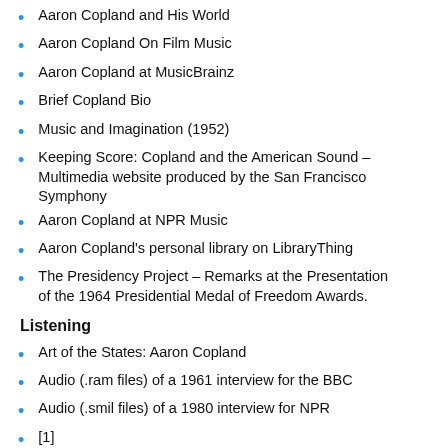Aaron Copland and His World
Aaron Copland On Film Music
Aaron Copland at MusicBrainz
Brief Copland Bio
Music and Imagination (1952)
Keeping Score: Copland and the American Sound – Multimedia website produced by the San Francisco Symphony
Aaron Copland at NPR Music
Aaron Copland's personal library on LibraryThing
The Presidency Project – Remarks at the Presentation of the 1964 Presidential Medal of Freedom Awards.
Listening
Art of the States: Aaron Copland
Audio (.ram files) of a 1961 interview for the BBC
Audio (.smil files) of a 1980 interview for NPR
[1]
Fanfare for America (video)